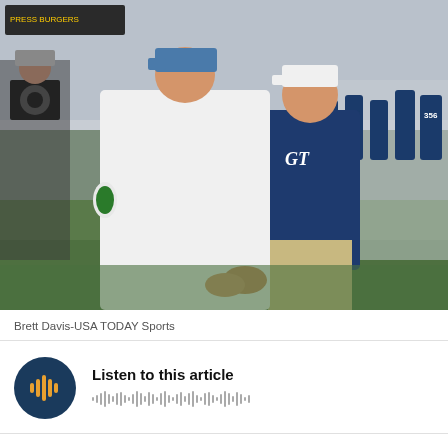[Figure (photo): Two football coaches shaking hands on the field after a game. The coach on the right wears a navy Georgia Tech (GT) polo shirt and a white cap. The coach on the left wears a white polo shirt. Players and crowd visible in background.]
Brett Davis-USA TODAY Sports
[Figure (other): Audio player widget with dark navy circular play button icon showing sound wave bars and a waveform visualization next to text 'Listen to this article']
Listen to this article
1 - Clemson Tigers (5-0, 3-0) LW: 1